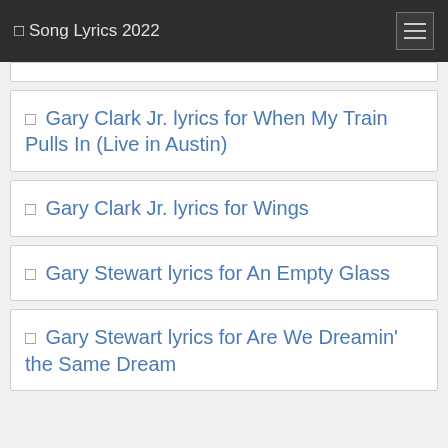🎵 Song Lyrics 2022
🎵 Gary Clark Jr. lyrics for When My Train Pulls In (Live in Austin)
🎵 Gary Clark Jr. lyrics for Wings
🎵 Gary Stewart lyrics for An Empty Glass
🎵 Gary Stewart lyrics for Are We Dreamin' the Same Dream